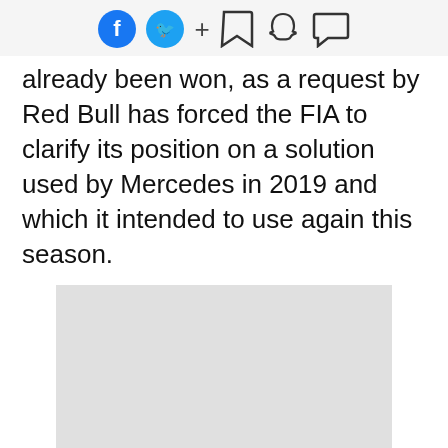Social share icons: Facebook, Twitter, +, Bookmark, Snapchat, Chat
already been won, as a request by Red Bull has forced the FIA to clarify its position on a solution used by Mercedes in 2019 and which it intended to use again this season.
[Figure (photo): A grey placeholder image rectangle]
The rear brake duct and suspension upright seen